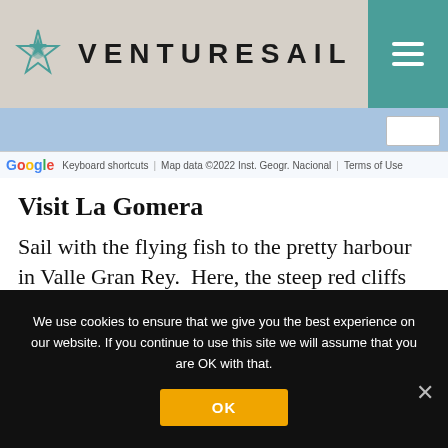VENTURESAIL
[Figure (screenshot): Google Maps embedded map view with blue/light background, Google logo and map attribution bar showing 'Keyboard shortcuts | Map data ©2022 Inst. Geogr. Nacional | Terms of Use']
Visit La Gomera
Sail with the flying fish to the pretty harbour in Valle Gran Rey.  Here, the steep red cliffs warm the water for an early evening swim before we dine under the stars. As the sun lifts her head above the ocean, take
We use cookies to ensure that we give you the best experience on our website. If you continue to use this site we will assume that you are OK with that.